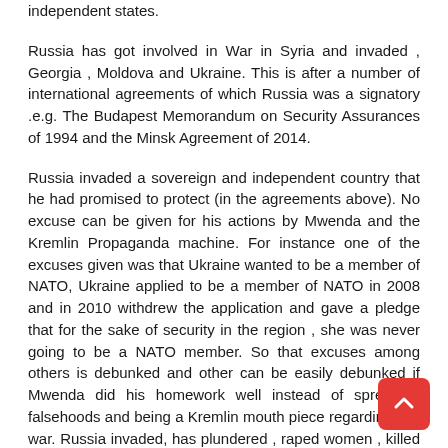independent states.
Russia has got involved in War in Syria and invaded , Georgia , Moldova and Ukraine. This is after a number of international agreements of which Russia was a signatory .e.g. The Budapest Memorandum on Security Assurances of 1994 and the Minsk Agreement of 2014.
Russia invaded a sovereign and independent country that he had promised to protect (in the agreements above). No excuse can be given for his actions by Mwenda and the Kremlin Propaganda machine. For instance one of the excuses given was that Ukraine wanted to be a member of NATO, Ukraine applied to be a member of NATO in 2008 and in 2010 withdrew the application and gave a pledge that for the sake of security in the region , she was never going to be a NATO member. So that excuses among others is debunked and other can be easily debunked if Mwenda did his homework well instead of spreading falsehoods and being a Kremlin mouth piece regarding this war. Russia invaded, has plundered , raped women , killed thousands if not tens of thousands ; forced civilians from Ukraine into concentration camps in cold and freezing Siberia ; razed cities, town and peoples